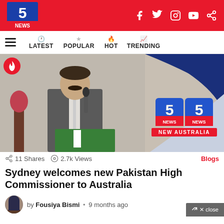5 NEWS — Social icons: Facebook, Twitter, Instagram, YouTube, Share
≡ LATEST  POPULAR  HOT  TRENDING
[Figure (photo): Man in grey suit speaking at a podium with a Pakistan flag, with 5 News New Australia logo on the right]
11 Shares  2.7k Views  Blogs
Sydney welcomes new Pakistan High Commissioner to Australia
by Fousiya Bismi • 9 months ago